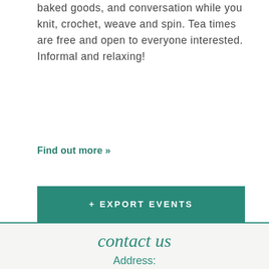baked goods, and conversation while you knit, crochet, weave and spin. Tea times are free and open to everyone interested. Informal and relaxing!
Find out more »
+ EXPORT EVENTS
contact us
Address: